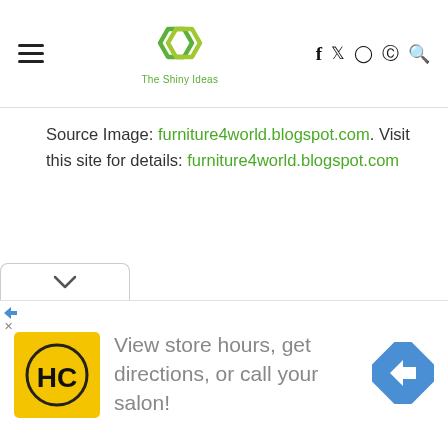The Shiny Ideas — navigation header with hamburger menu, logo, social icons (facebook, twitter, instagram, pinterest, search)
Source Image: furniture4world.blogspot.com. Visit this site for details: furniture4world.blogspot.com
[Figure (screenshot): Advertisement banner: HC salon logo (yellow background, black HC text), text 'View store hours, get directions, or call your salon!', blue navigation arrow sign icon on right.]